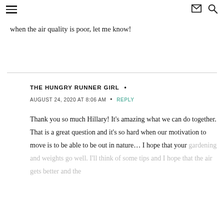☰  ✉ 🔍
when the air quality is poor, let me know!
THE HUNGRY RUNNER GIRL  •
AUGUST 24, 2020 AT 8:06 AM  •  REPLY
Thank you so much Hillary! It's amazing what we can do together. That is a great question and it's so hard when our motivation to move is to be able to be out in nature… I hope that your gardening and weights go well. I'll think of some tips and I hope that the air gets better and the